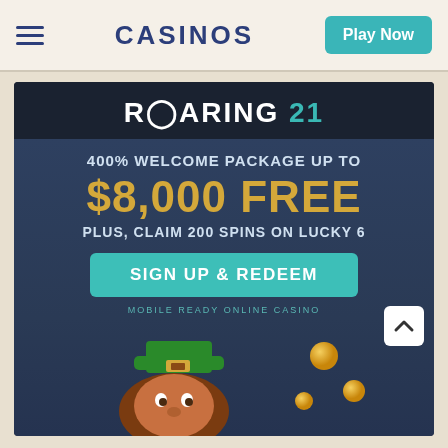CASINOS | Play Now
[Figure (illustration): Roaring 21 casino promotional banner with dark blue background. Shows 'ROARING 21' logo, text '400% WELCOME PACKAGE UP TO $8,000 FREE', 'PLUS, CLAIM 200 SPINS ON LUCKY 6', a teal 'SIGN UP & REDEEM' button, 'MOBILE READY ONLINE CASINO' text, and a cartoon leprechaun character with gold coins at the bottom.]